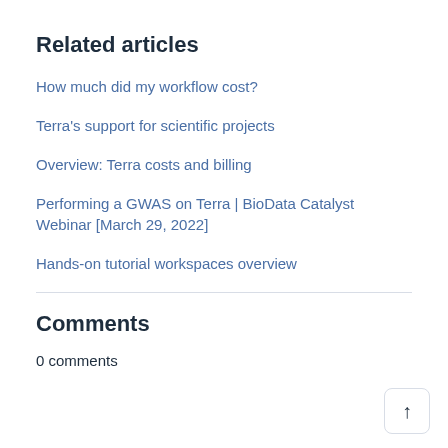Related articles
How much did my workflow cost?
Terra's support for scientific projects
Overview: Terra costs and billing
Performing a GWAS on Terra | BioData Catalyst Webinar [March 29, 2022]
Hands-on tutorial workspaces overview
Comments
0 comments